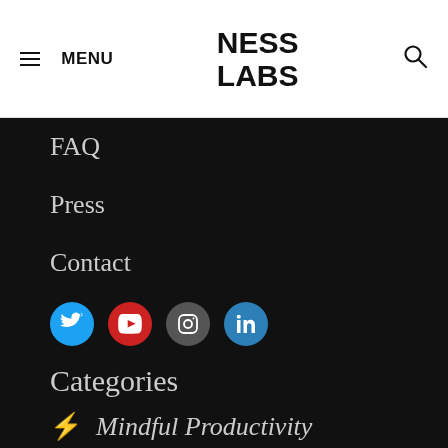NESS LABS
FAQ
Press
Contact
[Figure (other): Social media icon buttons: Twitter (blue), YouTube (red), Instagram (gray), LinkedIn (blue)]
Categories
⚡ Mindful Productivity
✦ Better Thinking
🌱 Continuous Learning